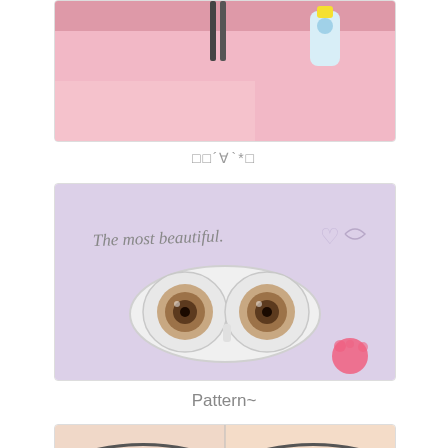[Figure (photo): Close-up photo of a hand holding tweezers near a contact lens vial on a pink surface]
□□´∀`*□
[Figure (photo): Contact lens case open showing two brown circle lenses on a purple background with text 'The most beautiful.' written above, and a pink strawberry decoration in corner]
Pattern~
[Figure (photo): Side-by-side comparison of eyes wearing colored contact lenses with eye makeup]